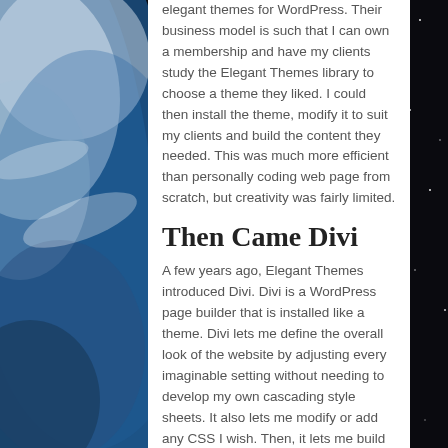[Figure (photo): Space/Earth background photo showing the Earth from orbit with stars and dark space on the right side, and blue Earth with clouds on the left side]
elegant themes for WordPress. Their business model is such that I can own a membership and have my clients study the Elegant Themes library to choose a theme they liked. I could then install the theme, modify it to suit my clients and build the content they needed. This was much more efficient than personally coding web page from scratch, but creativity was fairly limited.
Then Came Divi
A few years ago, Elegant Themes introduced Divi. Divi is a WordPress page builder that is installed like a theme. Divi lets me define the overall look of the website by adjusting every imaginable setting without needing to develop my own cascading style sheets. It also lets me modify or add any CSS I wish. Then, it lets me build each page or post in any way I want by